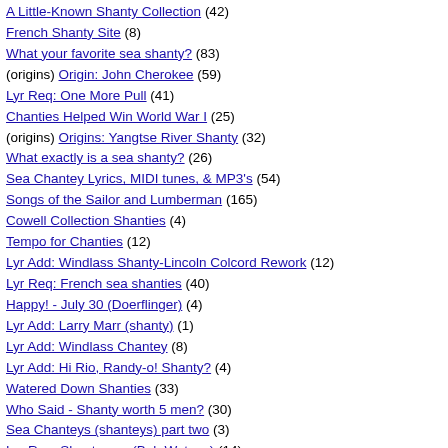A Little-Known Shanty Collection (42)
French Shanty Site (8)
What your favorite sea shanty? (83)
(origins) Origin: John Cherokee (59)
Lyr Req: One More Pull (41)
Chanties Helped Win World War I (25)
(origins) Origins: Yangtse River Shanty (32)
What exactly is a sea shanty? (26)
Sea Chantey Lyrics, MIDI tunes, & MP3's (54)
Songs of the Sailor and Lumberman (165)
Cowell Collection Shanties (4)
Tempo for Chanties (12)
Lyr Add: Windlass Shanty-Lincoln Colcord Rework (12)
Lyr Req: French sea shanties (40)
Happy! - July 30 (Doerflinger) (4)
Lyr Add: Larry Marr (shanty) (1)
Lyr Add: Windlass Chantey (8)
Lyr Add: Hi Rio, Randy-o! Shanty? (4)
Watered Down Shanties (33)
Who Said - Shanty worth 5 men? (30)
Sea Chanteys (shanteys) part two (3)
Lyr Req: Shantyman (Bob Watson) (14)
shanty sessions in U.K. (12)
New England Shanty Sessions (31)
Lyr Req: Whalen's Fate (Doerflinger version) (6)
Shanty Gathering Ideas for New England (26)
Lyr Add: Seafood Shop Chantyman's Song (5)
Chanties in Southern Maine (5)